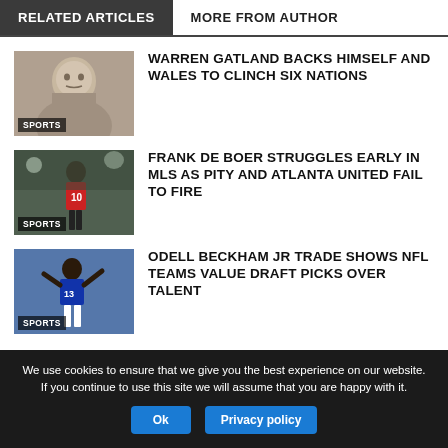RELATED ARTICLES | MORE FROM AUTHOR
[Figure (photo): Sports photo: Warren Gatland headshot with SPORTS label]
WARREN GATLAND BACKS HIMSELF AND WALES TO CLINCH SIX NATIONS
[Figure (photo): Sports photo: Frank de Boer / soccer player #10 with SPORTS label]
FRANK DE BOER STRUGGLES EARLY IN MLS AS PITY AND ATLANTA UNITED FAIL TO FIRE
[Figure (photo): Sports photo: Odell Beckham Jr #13 with SPORTS label]
ODELL BECKHAM JR TRADE SHOWS NFL TEAMS VALUE DRAFT PICKS OVER TALENT
We use cookies to ensure that we give you the best experience on our website. If you continue to use this site we will assume that you are happy with it.